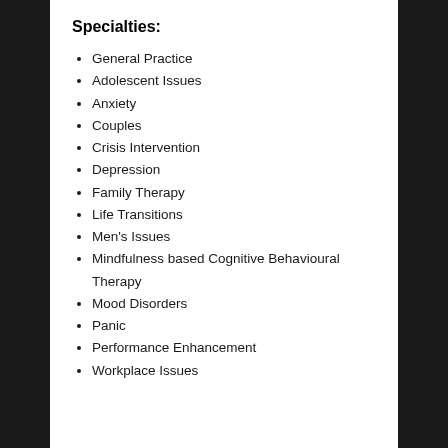Specialties:
General Practice
Adolescent Issues
Anxiety
Couples
Crisis Intervention
Depression
Family Therapy
Life Transitions
Men's Issues
Mindfulness based Cognitive Behavioural Therapy
Mood Disorders
Panic
Performance Enhancement
Workplace Issues